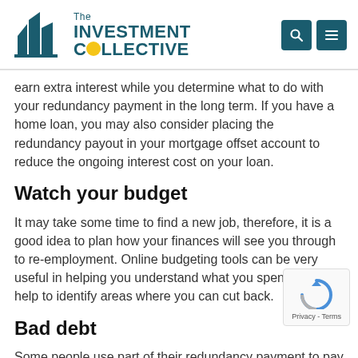The INVESTMENT COLLECTIVE
earn extra interest while you determine what to do with your redundancy payment in the long term. If you have a home loan, you may also consider placing the redundancy payout in your mortgage offset account to reduce the ongoing interest cost on your loan.
Watch your budget
It may take some time to find a new job, therefore, it is a good idea to plan how your finances will see you through to re-employment. Online budgeting tools can be very useful in helping you understand what you spend and can help to identify areas where you can cut back.
Bad debt
Some people use part of their redundancy payment to pay